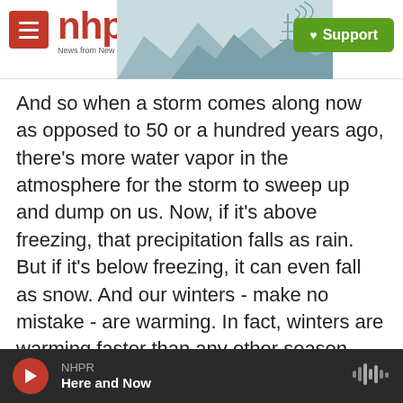[Figure (logo): NHPR (New Hampshire Public Radio) website header with hamburger menu button, NHPR logo in red, mountain and antenna illustration, and green Support button]
And so when a storm comes along now as opposed to 50 or a hundred years ago, there's more water vapor in the atmosphere for the storm to sweep up and dump on us. Now, if it's above freezing, that precipitation falls as rain. But if it's below freezing, it can even fall as snow. And our winters - make no mistake - are warming. In fact, winters are warming faster than any other season. But it still gets below freezing, so we still have snow. But we can see more of it when it's warmer.
MARTIN: Could all of this mean more rainy days or
[Figure (screenshot): Audio player footer bar with red play button, NHPR label, Here and Now show title, and audio waveform icon on dark background]